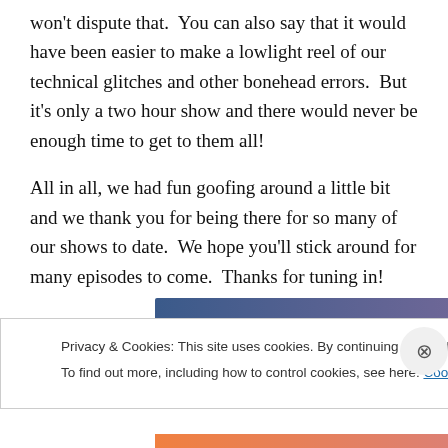won't dispute that.  You can also say that it would have been easier to make a lowlight reel of our technical glitches and other bonehead errors.  But it's only a two hour show and there would never be enough time to get to them all!
All in all, we had fun goofing around a little bit and we thank you for being there for so many of our shows to date.  We hope you'll stick around for many episodes to come.  Thanks for tuning in!
[Figure (other): Horizontal gradient bar transitioning from dark blue on the left to muted pink/purple on the right]
Privacy & Cookies: This site uses cookies. By continuing to use this website, you agree to their use.
To find out more, including how to control cookies, see here: Cookie Policy
Close and accept